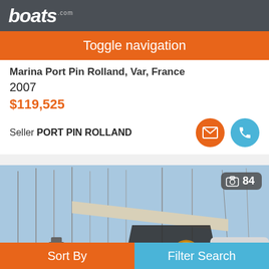boats .com
Toggle navigation
Marina Port Pin Rolland, Var, France
2007
$119,525
Seller PORT PIN ROLLAND
[Figure (photo): Sailboat docked at a marina with masts and other boats in background, sunny day]
Sort By
Filter Search